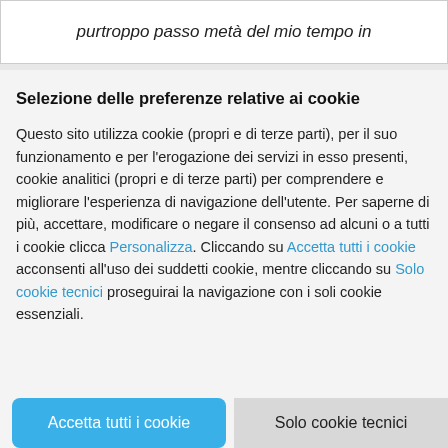purtroppo passo metà del mio tempo in
Selezione delle preferenze relative ai cookie
Questo sito utilizza cookie (propri e di terze parti), per il suo funzionamento e per l'erogazione dei servizi in esso presenti, cookie analitici (propri e di terze parti) per comprendere e migliorare l'esperienza di navigazione dell'utente. Per saperne di più, accettare, modificare o negare il consenso ad alcuni o a tutti i cookie clicca Personalizza. Cliccando su Accetta tutti i cookie acconsenti all'uso dei suddetti cookie, mentre cliccando su Solo cookie tecnici proseguirai la navigazione con i soli cookie essenziali.
Accetta tutti i cookie
Solo cookie tecnici
Personalizza